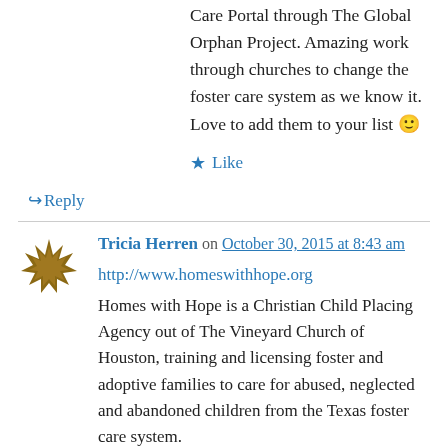Care Portal through The Global Orphan Project. Amazing work through churches to change the foster care system as we know it. Love to add them to your list 🙂
★ Like
↪ Reply
Tricia Herren on October 30, 2015 at 8:43 am
http://www.homeswithhope.org Homes with Hope is a Christian Child Placing Agency out of The Vineyard Church of Houston, training and licensing foster and adoptive families to care for abused, neglected and abandoned children from the Texas foster care system.